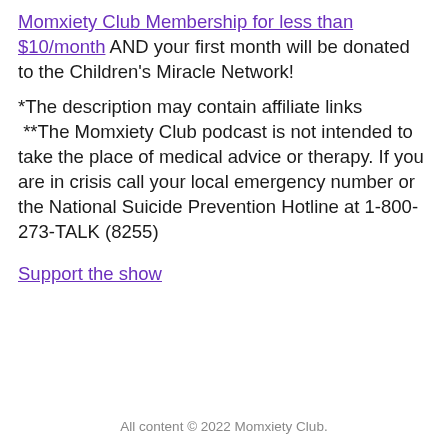Momxiety Club Membership for less than $10/month AND your first month will be donated to the Children's Miracle Network!
*The description may contain affiliate links **The Momxiety Club podcast is not intended to take the place of medical advice or therapy. If you are in crisis call your local emergency number or the National Suicide Prevention Hotline at 1-800-273-TALK (8255)
Support the show
All content © 2022 Momxiety Club.